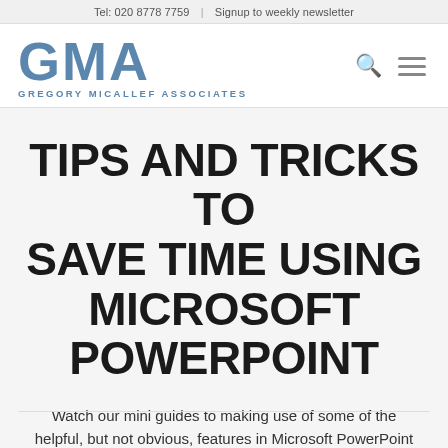Tel: 020 8778 7759  |  Signup to weekly newsletter
[Figure (logo): GMA Gregory Micallef Associates logo in blue, with large GMA letters and full name underneath]
TIPS AND TRICKS TO SAVE TIME USING MICROSOFT POWERPOINT
Watch our mini guides to making use of some of the helpful, but not obvious, features in Microsoft PowerPoint